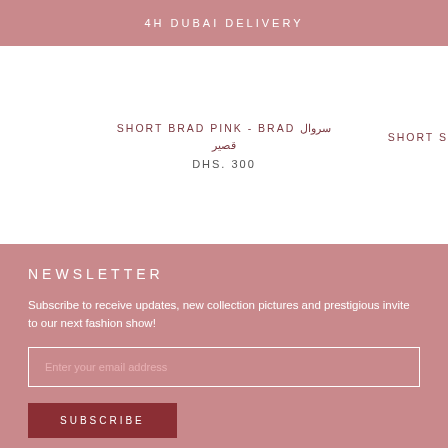4H DUBAI DELIVERY
SHORT BRAD PINK - BRAD سروال قصير
DHS. 300
SHORT S
NEWSLETTER
Subscribe to receive updates, new collection pictures and prestigious invite to our next fashion show!
Enter your email address
SUBSCRIBE